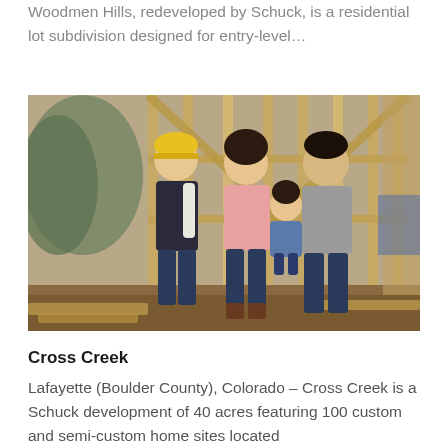Woodmen Hills, redeveloped by Schuck, is a residential lot subdivision designed for entry-level…
[Figure (photo): A construction worker in a yellow hard hat holding blueprints stands next to a smiling couple (woman in pink sweater, man in grey sweater) who are holding a young child, all posing in front of a wood-framed house under construction.]
Cross Creek
Lafayette (Boulder County), Colorado – Cross Creek is a Schuck development of 40 acres featuring 100 custom and semi-custom home sites located